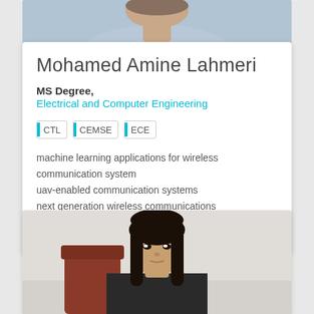[Figure (photo): Top portion of a person in a light blue shirt against a blue-grey background, cropped at the torso/shoulders]
Mohamed Amine Lahmeri
MS Degree,
Electrical and Computer Engineering
CTL
CEMSE
ECE
machine learning applications for wireless communication systems
uav-enabled communication systems
next generation wireless communications
Alumni
[Figure (photo): Portrait of a young woman with long dark hair, wearing a dark top, seated indoors with a reddish-brown chair visible in the background]